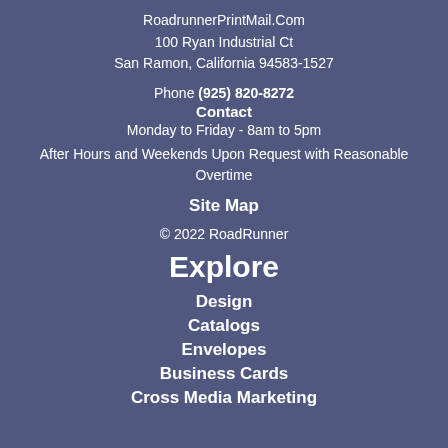RoadrunnerPrintMail.Com
100 Ryan Industrial Ct
San Ramon, California 94583-1527
Phone (925) 820-8272
Contact
Monday to Friday - 8am to 5pm
After Hours and Weekends Upon Request with Reasonable Overtime
Site Map
© 2022 RoadRunner
Explore
Design
Catalogs
Envelopes
Business Cards
Cross Media Marketing